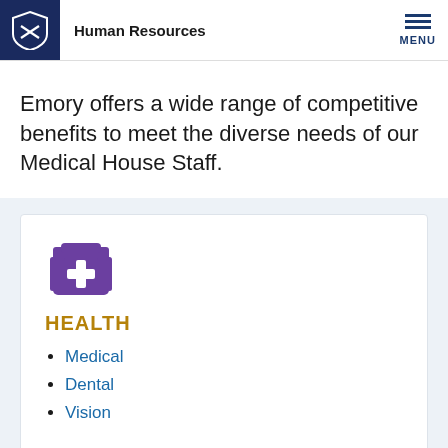Human Resources | MENU
Emory offers a wide range of competitive benefits to meet the diverse needs of our Medical House Staff.
[Figure (illustration): Purple medical kit / first aid bag icon with a white cross on it, handles on both sides]
HEALTH
Medical
Dental
Vision